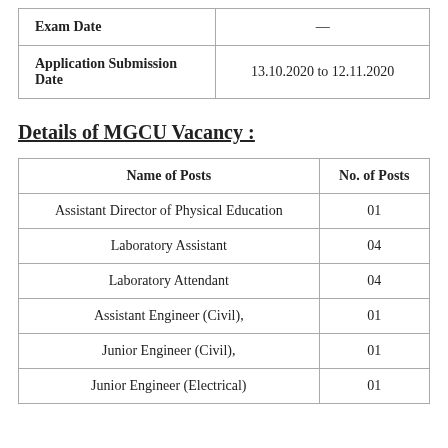| Exam Date | — |
| --- | --- |
| Exam Date | — |
| Application Submission Date | 13.10.2020 to 12.11.2020 |
Details of MGCU Vacancy :
| Name of Posts | No. of Posts |
| --- | --- |
| Assistant Director of Physical Education | 01 |
| Laboratory Assistant | 04 |
| Laboratory Attendant | 04 |
| Assistant Engineer (Civil), | 01 |
| Junior Engineer (Civil), | 01 |
| Junior Engineer (Electrical) | 01 |